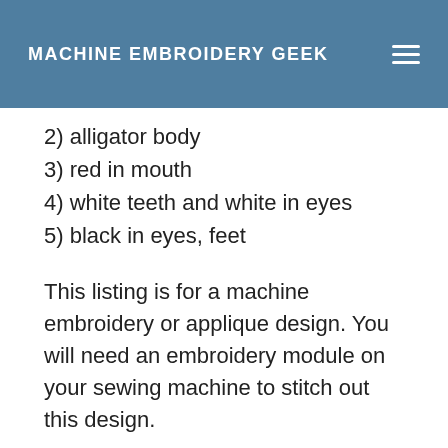MACHINE EMBROIDERY GEEK
2) alligator body
3) red in mouth
4) white teeth and white in eyes
5) black in eyes, feet
This listing is for a machine embroidery or applique design. You will need an embroidery module on your sewing machine to stitch out this design.
This listing is for a machine embroidery or applique design. You will need an